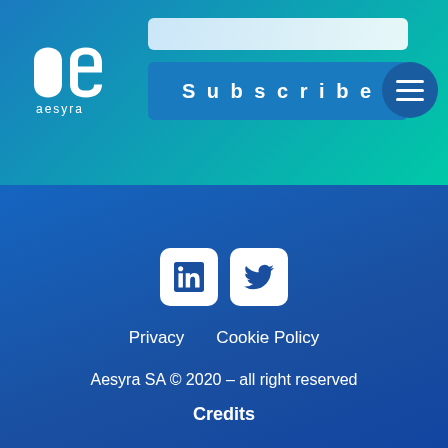[Figure (logo): Aesyra logo - stylized 'ae' letters in white on blue/teal gradient background with 'aesyra' text below]
[Figure (screenshot): Search bar input field with gradient white background]
Subscribe
[Figure (other): Hamburger menu button - three white horizontal lines in a dark blue circle]
[Figure (other): LinkedIn and Twitter social media icon buttons in white rounded squares on dark blue background]
Privacy   Cookie Policy
Aesyra SA © 2020 – all right reserved
Credits